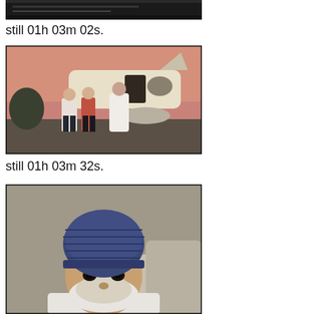[Figure (photo): Bottom of a video still showing a dark/interior scene, partially cropped at top of page.]
still 01h 03m 02s.
[Figure (photo): Video still showing people standing outside a small aircraft at sunset/dusk. One person in white robes/dress stands near the plane door while two others in casual clothes stand nearby.]
still 01h 03m 32s.
[Figure (photo): Video still showing a close-up of a man wearing a dark blue knitted hat, with a white beard, looking at the camera. Partial image cut off at bottom of page.]